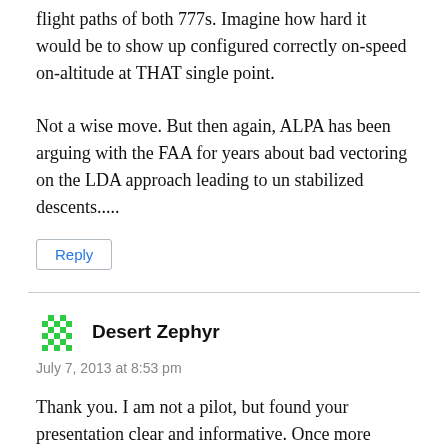flight paths of both 777s. Imagine how hard it would be to show up configured correctly on-speed on-altitude at THAT single point.
Not a wise move. But then again, ALPA has been arguing with the FAA for years about bad vectoring on the LDA approach leading to un stabilized descents.....
Reply
Desert Zephyr
July 7, 2013 at 8:53 pm
Thank you. I am not a pilot, but found your presentation clear and informative. Once more